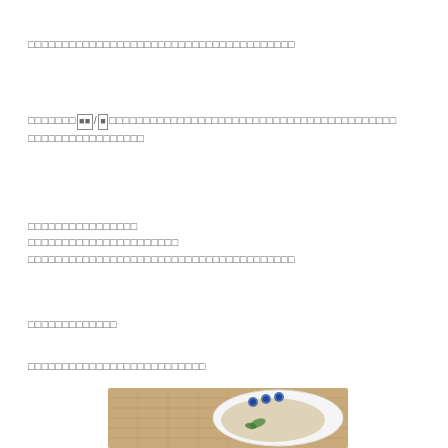□□□□□□□□□□□□□□□□□□□□□□□□□□□□□□□□□□□
□□□□□□■■/■□□□□□□□□□□□□□□□□□□□□□□□□□□□□□□□□□□
□□□□□□□□□□□□□□
□□□□□□□□□□□□□□□□
□□□□□□□□□□□□□□□□□□□□
□□□□□□□□□□□□□□□□□□□□□□□□□□□□□□□□□□□□
□□□□□□□□□□□□□
□□□□□□□□□□□□□□□□□□□□□□□□□
[Figure (photo): Photo of a bowl or dish with food, appears to show a soup or similar dish with blue decorative elements visible on what appears to be a ceramic bowl or plate]